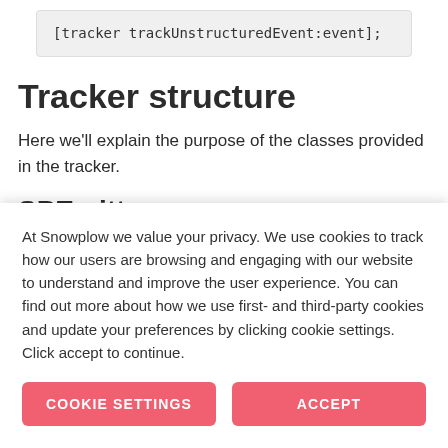[tracker trackUnstructuredEvent:event];
Tracker structure
Here we’ll explain the purpose of the classes provided in the tracker.
SPEmitter
At Snowplow we value your privacy. We use cookies to track how our users are browsing and engaging with our website to understand and improve the user experience. You can find out more about how we use first- and third-party cookies and update your preferences by clicking cookie settings. Click accept to continue.